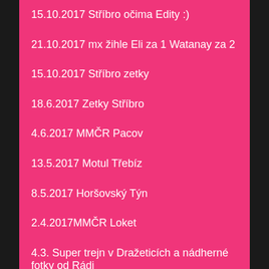15.10.2017 Stříbro očima Edity :)
21.10.2017 mx žihle Eli za 1 Watanay za 2
15.10.2017 Stříbro zetky
18.6.2017 Zetky Stříbro
4.6.2017 MMČR Pacov
13.5.2017 Motul Třebíz
8.5.2017 Horšovský Týn
2.4.2017MMČR Loket
4.3. Super trejn v Dražeticích a nádherné fotky od Rádi
Trenink 29 října 2016 na trati ve Štítarech